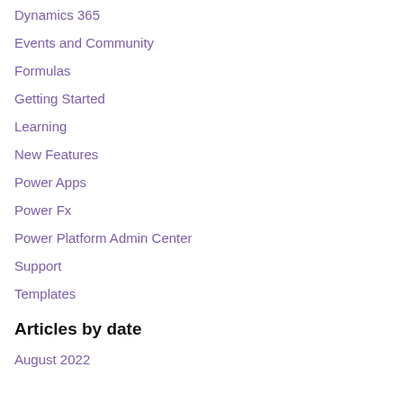Dynamics 365
Events and Community
Formulas
Getting Started
Learning
New Features
Power Apps
Power Fx
Power Platform Admin Center
Support
Templates
Articles by date
August 2022